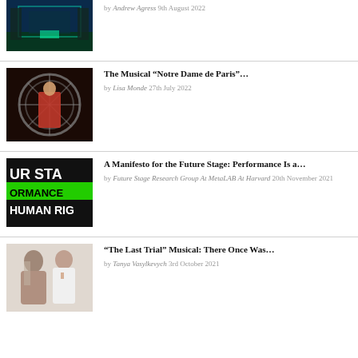[Figure (photo): Theater stage scene with blue/teal lighting, partial view at top of page]
by Andrew Agress 9th August 2022
[Figure (photo): Performer in orange costume on elaborate stage set for Notre Dame de Paris musical]
The Musical “Notre Dame de Paris”…
by Lisa Monde 27th July 2022
[Figure (photo): Black and green graphic with text: UR STA, ORMANCE, HUMAN RIG (Future Stage manifesto graphic)]
A Manifesto for the Future Stage: Performance Is a…
by Future Stage Research Group At MetaLAB At Harvard 20th November 2021
[Figure (photo): Two people posing for musical The Last Trial, one with finger to lips]
“The Last Trial” Musical: There Once Was…
by Tanya Vasylkevych 3rd October 2021